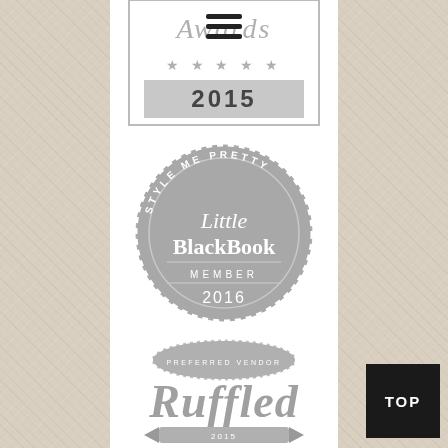[Figure (logo): Awards 2015 badge/plaque with star decorations and text 'Awards 2015', partially cropped at top with hamburger menu icon overlay]
[Figure (logo): Style Me Pretty Little BlackBook Member 2016 circular badge in grey]
[Figure (logo): Ruffled Preferred Vendor badge with decorative seal and calligraphic 'Ruffled' text, 2015]